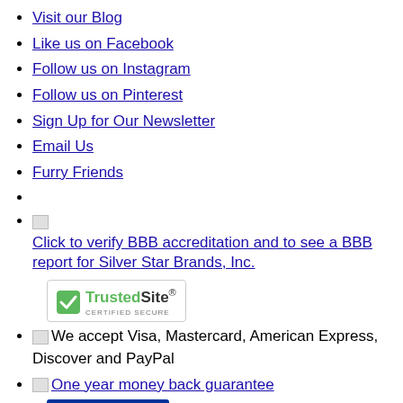Visit our Blog
Like us on Facebook
Follow us on Instagram
Follow us on Pinterest
Sign Up for Our Newsletter
Email Us
Furry Friends
Click to verify BBB accreditation and to see a BBB report for Silver Star Brands, Inc.
[Figure (logo): TrustedSite Certified Secure badge with green checkmark]
We accept Visa, Mastercard, American Express, Discover and PayPal
One year money back guarantee
[Figure (logo): Bizrate Registered Store badge dated 08/20/22]
All images on this site are property of Silver Star Brands, Inc. and/or the original image licensors. The content of these images is not meant to suggest that the person depicted uses or endorses our products or services. Information, descriptions and representations